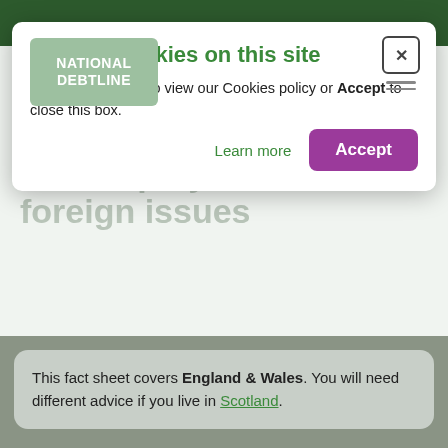[Figure (screenshot): Cookie consent modal overlay on National Debtline website. Modal contains logo, title 'We use Cookies on this site', body text about cookies policy, Learn more link and Accept button. Behind the modal: page header with green bar, 'Bankruptcy and foreign issues' heading, gray info box, Contents section.]
We use Cookies on this site
Click Learn more to view our Cookies policy or Accept to close this box.
Bankruptcy and foreign issues
This fact sheet covers England & Wales. You will need different advice if you live in Scotland.
Contents  Open ▼
This fact sheet tells you when you can go bankrupt in